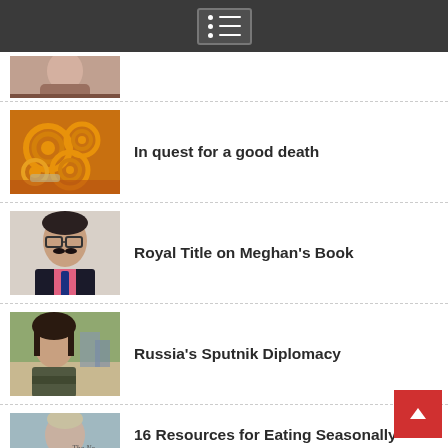Navigation menu icon
(partial article - woman photo, no title visible)
In quest for a good death
Royal Title on Meghan's Book
Russia's Sputnik Diplomacy
16 Resources for Eating Seasonally